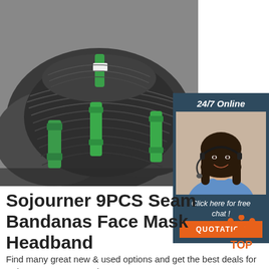[Figure (photo): Large coils of dark gray/black wire bundles tied with green plastic straps, stacked in an industrial setting.]
[Figure (photo): Customer service agent — smiling woman with dark hair wearing a headset and blue shirt, shown in a dark blue panel with '24/7 Online' text, 'Click here for free chat!' italicized text, and an orange 'QUOTATION' button.]
Sojourner 9PCS Seamless Bandanas Face Mask Headband
[Figure (illustration): Orange 'TOP' arrow/crown icon with three dots arranged above the word TOP in orange.]
Find many great new & used options and get the best deals for Sojourner 9PCS Seamless